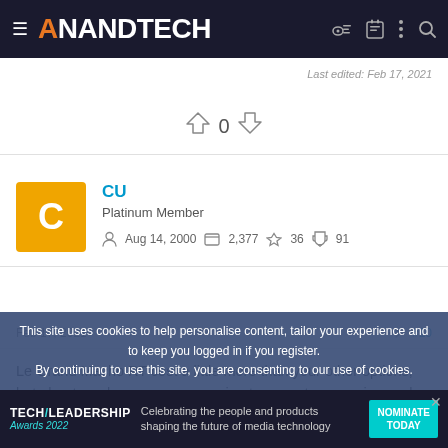AnandTech
Last edited: Feb 17, 2021
0
CU
Platinum Member
Aug 14, 2000  2,377  36  91
Feb 17, 2021  #10
Le Grand Macho RT cost a little more than your other options, but about as close as you are going to come to a passive cooler. Although the base seems to be convex, so it may not work as good
This site uses cookies to help personalise content, tailor your experience and to keep you logged in if you register.
By continuing to use this site, you are consenting to our use of cookies.
[Figure (infographic): Tech Leadership Awards 2022 advertisement banner — Celebrating the people and products shaping the future of media technology. Nominate Today button.]